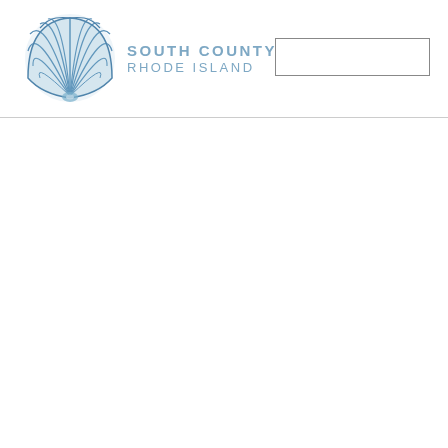[Figure (logo): South County Rhode Island logo with a blue scallop shell and text 'SOUTH COUNTY RHODE ISLAND' to the right]
[Figure (other): Empty rectangular search/input box in upper right corner]